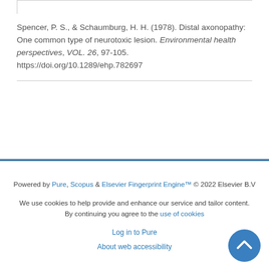Spencer, P. S., & Schaumburg, H. H. (1978). Distal axonopathy: One common type of neurotoxic lesion. Environmental health perspectives, VOL. 26, 97-105. https://doi.org/10.1289/ehp.782697
Powered by Pure, Scopus & Elsevier Fingerprint Engine™ © 2022 Elsevier B.V

We use cookies to help provide and enhance our service and tailor content. By continuing you agree to the use of cookies

Log in to Pure

About web accessibility